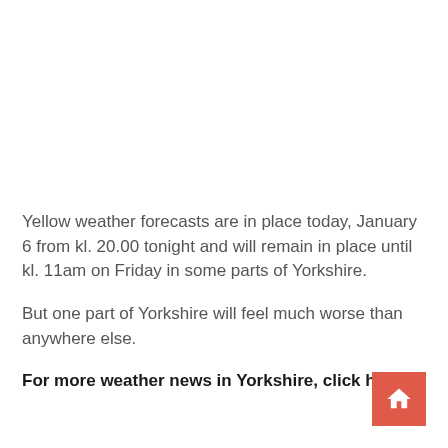Yellow weather forecasts are in place today, January 6 from kl. 20.00 tonight and will remain in place until kl. 11am on Friday in some parts of Yorkshire.
But one part of Yorkshire will feel much worse than anywhere else.
For more weather news in Yorkshire, click here .
[Figure (other): Red square button with a white house/home icon]